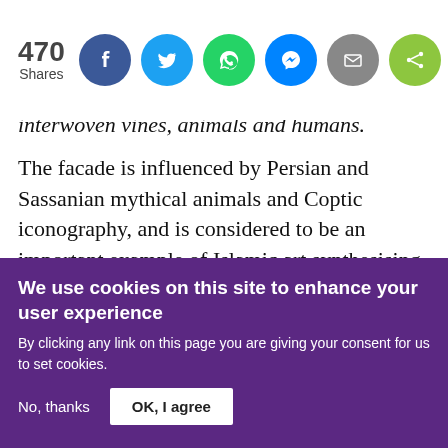[Figure (infographic): Social share bar showing 470 Shares count with circular icon buttons for Facebook (blue), Twitter (light blue), WhatsApp (green), Messenger (blue), Email (grey), and Share (lime green)]
interwoven vines, animals and humans.
The facade is influenced by Persian and Sassanian mythical animals and Coptic iconography, and is considered to be an important example of Islamic art synthesising eastern and western themes.
While some of it is still in situ, the most decorative element of the Mshatta facade was gifted to Germa…
We use cookies on this site to enhance your user experience
By clicking any link on this page you are giving your consent for us to set cookies.
No, thanks
OK, I agree